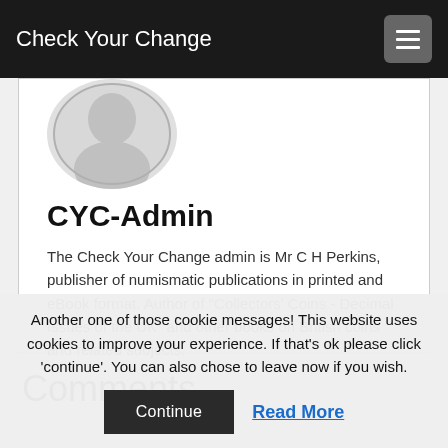Check Your Change
[Figure (illustration): Circular avatar image showing a portrait/coin-style figure in light grey tones]
CYC-Admin
The Check Your Change admin is Mr C H Perkins, publisher of numismatic publications in printed and eBook format. Author of "Collectors' Coins - Decimal Issues of the UK" and other books on British coins and related subjects.
Comments
Another one of those cookie messages! This website uses cookies to improve your experience. If that's ok please click 'continue'. You can also chose to leave now if you wish.